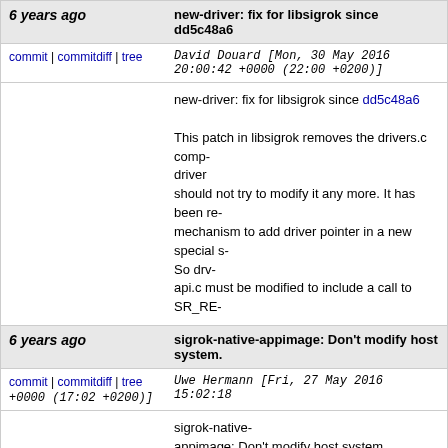6 years ago — new-driver: fix for libsigrok since dd5c48a6
commit | commitdiff | tree   David Douard [Mon, 30 May 2016 20:00:42 +0000 (22:00 +0200)]
new-driver: fix for libsigrok since dd5c48a6

This patch in libsigrok removes the drivers.c comp- driver should not try to modify it any more. It has been re- mechanism to add driver pointer in a new special s- So drv-api.c must be modified to include a call to SR_RE-
6 years ago — sigrok-native-appimage: Don't modify host system.
commit | commitdiff | tree   Uwe Hermann [Fri, 27 May 2016 15:02:18 +0000 (17:02 +0200)]
sigrok-native-appimage: Don't modify host system.

Instead of running apt-get (and requiring sudo) simply assume all build requirements are present on the host.
6 years ago — Rename bundle.sh to sigrok-native-appimage for consistency.